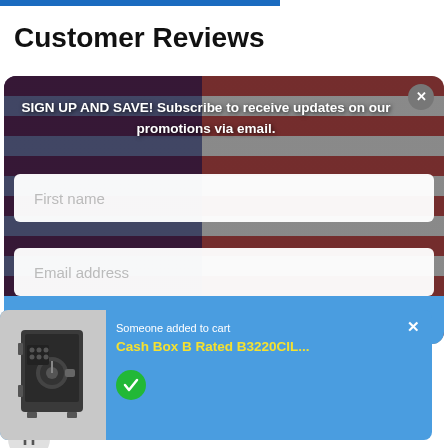Customer Reviews
[Figure (screenshot): Email subscription modal popup over an American flag background. Contains fields for First name and Email address, a SUBSCRIBE button, and a close (X) button in top right corner.]
SIGN UP AND SAVE! Subscribe to receive updates on our promotions via email.
[Figure (screenshot): Cart notification popup showing a safe/cash box product image, text 'Someone added to cart', product name 'Cash Box B Rated B3220CIL...' in yellow, a green checkmark circle, and a close X button.]
Someone added to cart
Cash Box B Rated B3220CIL...
11/21/2017
Hazel Mccarthy